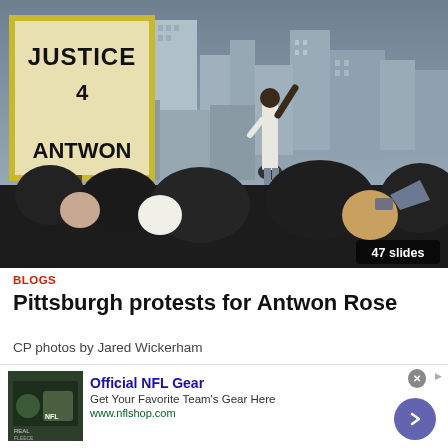[Figure (photo): Protest scene showing demonstrators marching with a 'JUSTICE 4 ANTWON' sign held up on the left. A man stands elevated with his arm raised in the center. City buildings visible in background. Badge reads '47 slides'.]
BLOGS
Pittsburgh protests for Antwon Rose
CP photos by Jared Wickerham
[Figure (infographic): Advertisement for Official NFL Gear. Shows NFL shop logo image, text 'Official NFL Gear', 'Get Your Favorite Team's Gear Here', 'www.nflshop.com', with a purple circular CTA button with right arrow.]